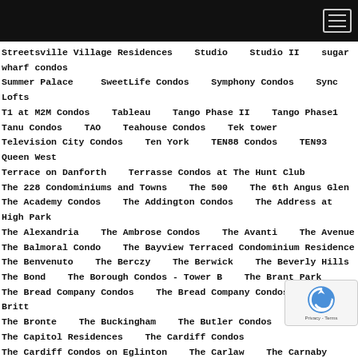Navigation header with hamburger menu
Streetsville Village Residences
Studio
Studio II
sugar wharf condos
Summer Palace
SweetLife Condos
Symphony Condos
Sync Lofts
T1 at M2M Condos
Tableau
Tango Phase II
Tango Phase1
Tanu Condos
TAO
Teahouse Condos
Tek tower
Television City Condos
Ten York
TEN88 Condos
TEN93 Queen West
Terrace on Danforth
Terrasse Condos at The Hunt Club
The 228 Condominiums and Towns
The 500
The 6th Angus Glen
The Academy Condos
The Addington Condos
The Address at High Park
The Alexandria
The Ambrose Condos
The Avanti
The Avenue
The Balmoral Condo
The Bayview Terraced Condominium Residence
The Benvenuto
The Berczy
The Berwick
The Beverly Hills
The Bond
The Borough Condos - Tower B
The Brant Park
The Bread Company Condos
The Bread Company Condos
The Britt
The Bronte
The Buckingham
The Butler Condos
The Capitol Residences
The Cardiff Condos
The Cardiff Condos on Eglinton
The Carlaw
The Carnaby Lofts
The Charles Condos
The Charlotte
The Chelsea
The Clairington
The Code Condos
The College Condominium at Spadina
The Connolly
The Courtyards of Upper Forest Hill
The Crest at Crosstown
The Cumberland
The Davies Condos
The Davis - Residences at Bakerfield
The Davisville
The Dawes
The Deane Condos
The Design District
The Dragon Condos